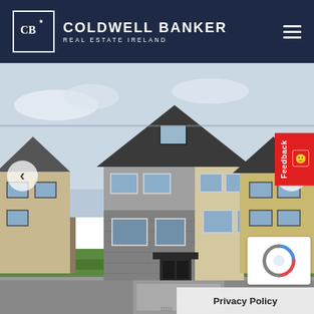[Figure (logo): Coldwell Banker Real Estate Ireland logo — white CB monogram in a white-bordered square on dark navy background, with brand name and tagline]
[Figure (photo): Exterior photo of a two-storey detached Irish new-build house with grey stone cladding and cream render, dark grey pitched roof with skylight, gravel driveway, green lawn, surrounding similar houses, overcast sky. Navigation arrows on left and right. Red Feedback tab on right edge.]
Privacy Policy